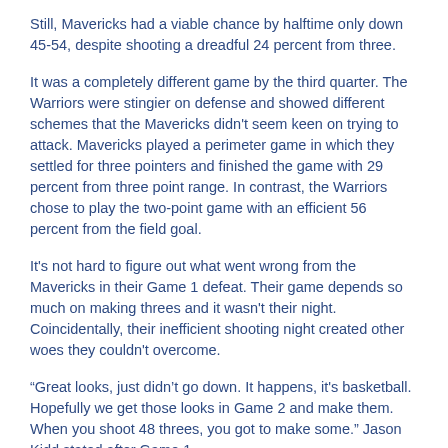Still, Mavericks had a viable chance by halftime only down 45-54, despite shooting a dreadful 24 percent from three.
It was a completely different game by the third quarter. The Warriors were stingier on defense and showed different schemes that the Mavericks didn't seem keen on trying to attack. Mavericks played a perimeter game in which they settled for three pointers and finished the game with 29 percent from three point range. In contrast, the Warriors chose to play the two-point game with an efficient 56 percent from the field goal.
It's not hard to figure out what went wrong from the Mavericks in their Game 1 defeat. Their game depends so much on making threes and it wasn't their night. Coincidentally, their inefficient shooting night created other woes they couldn't overcome.
“Great looks, just didn’t go down. It happens, it’s basketball. Hopefully we get those looks in Game 2 and make them. When you shoot 48 threes, you got to make some.” Jason Kidd stated after Game 1.
Luka Doncic Poor Shooting